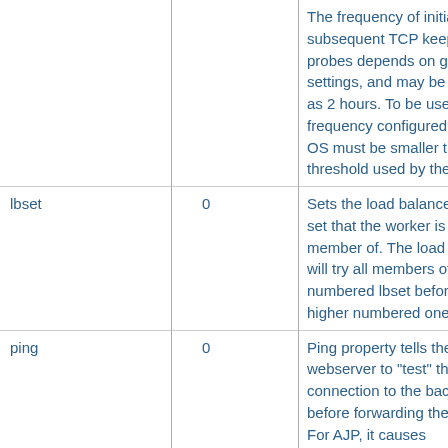| Attribute | Default | Description |
| --- | --- | --- |
|  |  | The frequency of initial and subsequent TCP keepalive probes depends on global OS settings, and may be as high as 2 hours. To be useful the frequency configured at the OS must be smaller than the threshold used by the firewall. |
| lbset | 0 | Sets the load balancer cluster set that the worker is a member of. The load balancer will try all members of a lower numbered lbset before trying higher numbered ones. |
| ping | 0 | Ping property tells the webserver to "test" the connection to the backend before forwarding the request. For AJP, it causes mod_proxy_ajp to send CPING request on the ajp... |